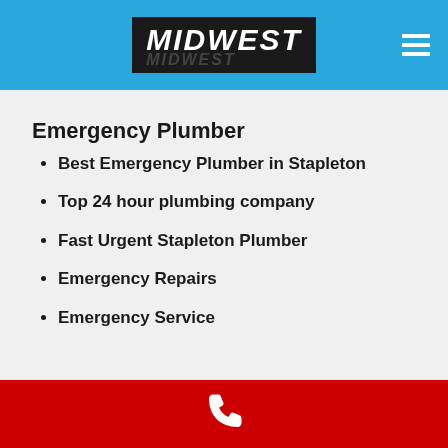MIDWEST
Emergency Plumber
Best Emergency Plumber in Stapleton
Top 24 hour plumbing company
Fast Urgent Stapleton Plumber
Emergency Repairs
Emergency Service
[phone icon]